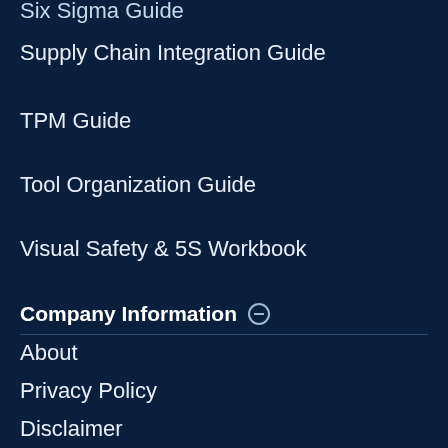Six Sigma Guide
Supply Chain Integration Guide
TPM Guide
Tool Organization Guide
Visual Safety & 5S Workbook
Company Information
About
Privacy Policy
Disclaimer
8030 SW Nimbus Ave
Beaverton, OR 97008
My Account
Leave a message